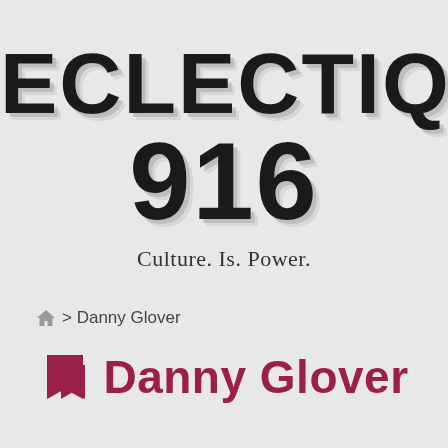ECLECTIQUE 916
Culture. Is. Power.
🏠 > Danny Glover
Danny Glover